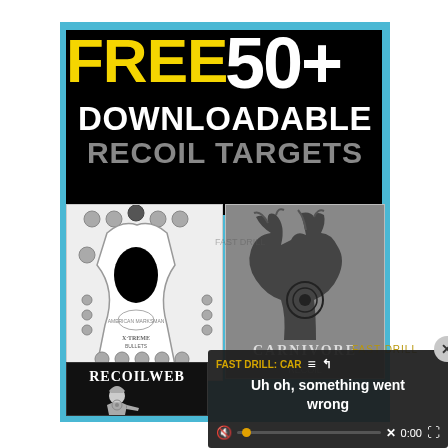[Figure (infographic): Advertisement for Free 50+ Downloadable Recoil Targets showing sample shooting targets including silhouette target, deer carnivore target, and RECOILWEB target, on a blue-bordered black background]
[Figure (screenshot): Video player overlay showing error message: FAST DRILL: CAR= / Uh oh, something went wrong, with video controls and close button]